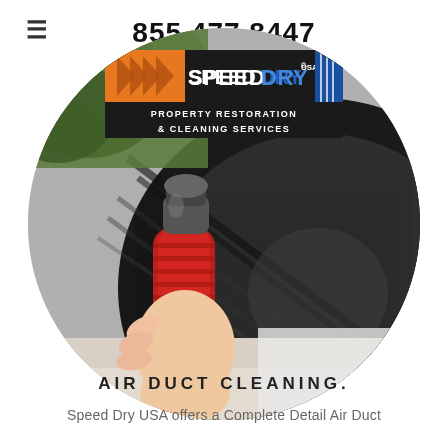855.477.8447
[Figure (logo): Speed Dry USA Property Restoration & Cleaning Services logo]
[Figure (photo): A person holding a red air duct cleaning hose/tool near a large black tire, with green foliage in the background. The image is cropped in a circle.]
AIR DUCT CLEANING.
Speed Dry USA offers a Complete Detail Air Duct